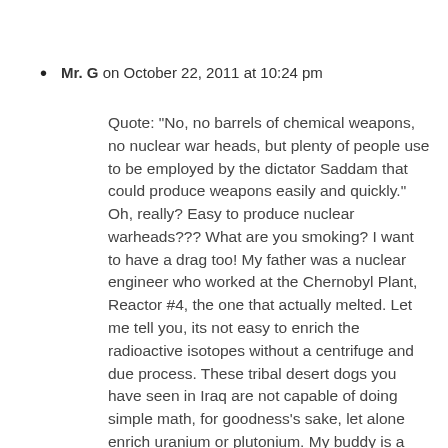Mr. G on October 22, 2011 at 10:24 pm
Quote: “No, no barrels of chemical weapons, no nuclear war heads, but plenty of people use to be employed by the dictator Saddam that could produce weapons easily and quickly.” Oh, really? Easy to produce nuclear warheads??? What are you smoking? I want to have a drag too! My father was a nuclear engineer who worked at the Chernobyl Plant, Reactor #4, the one that actually melted. Let me tell you, its not easy to enrich the radioactive isotopes without a centrifuge and due process. These tribal desert dogs you have seen in Iraq are not capable of doing simple math, for goodness’s sake, let alone enrich uranium or plutonium. My buddy is a Warrant Officer with two touts in Iraq and he tells me that. So, I don’t know what it is you think is best for our troops, but its definitely not worth 4000+ lives of soldiers wasted in the